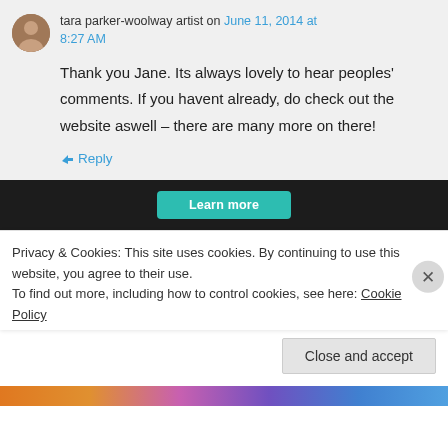tara parker-woolway artist on June 11, 2014 at 8:27 AM
Thank you Jane. Its always lovely to hear peoples' comments. If you havent already, do check out the website aswell – there are many more on there!
↳ Reply
[Figure (screenshot): Dark advertisement strip with a teal 'Learn more' button]
Privacy & Cookies: This site uses cookies. By continuing to use this website, you agree to their use. To find out more, including how to control cookies, see here: Cookie Policy
Close and accept